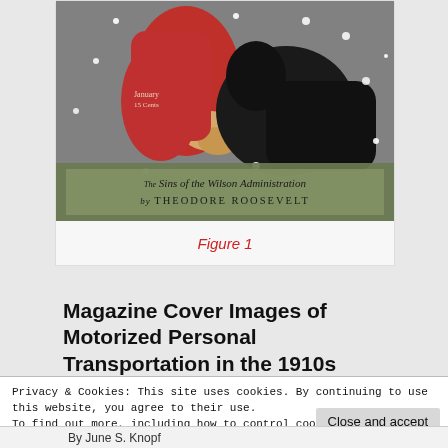[Figure (photo): Magazine cover showing a snowy scene. Text on cover reads 'January 15 Cents' and at the bottom 'The Sins of the Wilson Administration by THEODORE ROOSEVELT'. Person in red coat visible with dark horse.]
Figure 1
Magazine Cover Images of Motorized Personal Transportation in the 1910s
Privacy & Cookies: This site uses cookies. By continuing to use this website, you agree to their use.
To find out more, including how to control cookies, see here:
Cookie Policy
By June S. Knopf